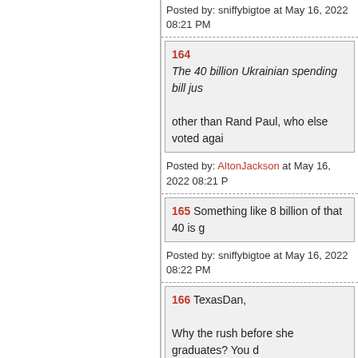Posted by: sniffybigtoe at May 16, 2022 08:21 PM
164 The 40 billion Ukrainian spending bill jus... other than Rand Paul, who else voted agai...
Posted by: AltonJackson at May 16, 2022 08:21 P...
165 Something like 8 billion of that 40 is g...
Posted by: sniffybigtoe at May 16, 2022 08:22 PM
166 TexasDan, Why the rush before she graduates? You d...
Posted by: lin-duh at May 16, 2022 08:22 PM (U...
167 other than Rand Paul, who else voted... Agents of Putin,